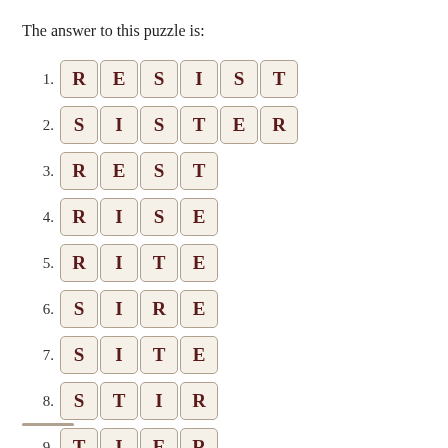The answer to this puzzle is:
1. RESIST
2. SISTER
3. REST
4. RISE
5. RITE
6. SIRE
7. SITE
8. STIR
9. TIER
10. TIRE